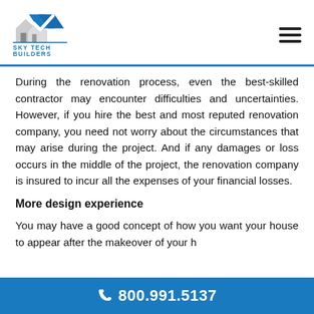[Figure (logo): Sky Tech Builders logo with house icon and blue checkmark, company name in blue text]
During the renovation process, even the best-skilled contractor may encounter difficulties and uncertainties. However, if you hire the best and most reputed renovation company, you need not worry about the circumstances that may arise during the project. And if any damages or loss occurs in the middle of the project, the renovation company is insured to incur all the expenses of your financial losses.
More design experience
You may have a good concept of how you want your house to appear after the makeover of your h
800.991.5137